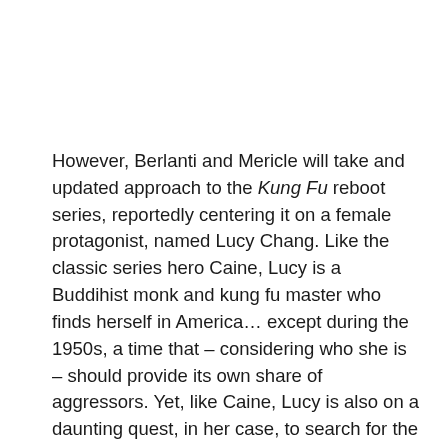However, Berlanti and Mericle will take and updated approach to the Kung Fu reboot series, reportedly centering it on a female protagonist, named Lucy Chang. Like the classic series hero Caine, Lucy is a Buddihist monk and kung fu master who finds herself in America… except during the 1950s, a time that – considering who she is – should provide its own share of aggressors. Yet, like Caine, Lucy is also on a daunting quest, in her case, to search for the man who, years earlier, stole her child. She will pair herself with a mysterious man, named JT Cullen, a veteran of the then-recent Korean War, forming an alliance based on their mutual goals, all while coming to the aid of those they encounter along the